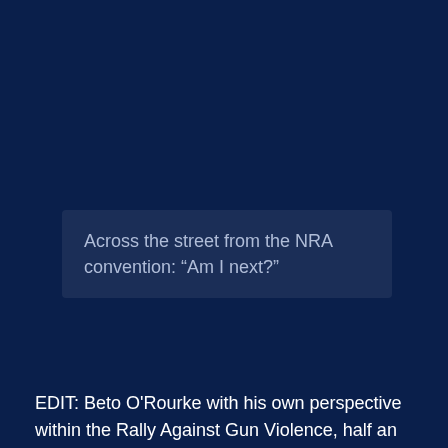Across the street from the NRA convention: “Am I next?”
EDIT: Beto O'Rourke with his own perspective within the Rally Against Gun Violence, half an hour video: